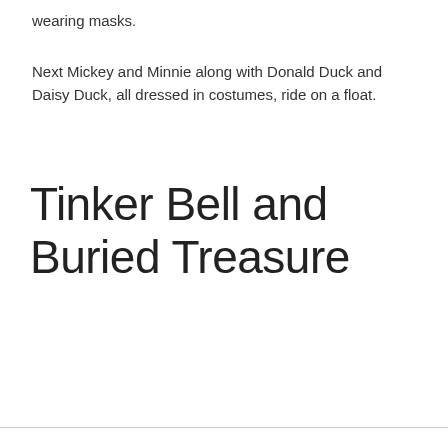wearing masks.
Next Mickey and Minnie along with Donald Duck and Daisy Duck, all dressed in costumes, ride on a float.
Tinker Bell and Buried Treasure